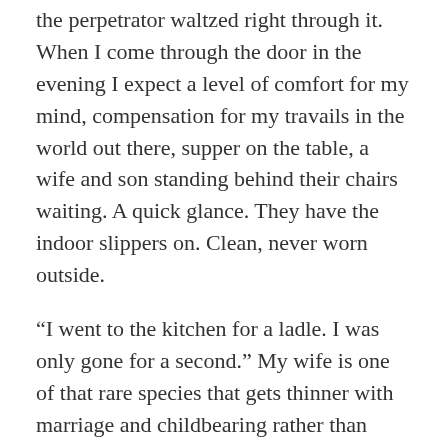the perpetrator waltzed right through it. When I come through the door in the evening I expect a level of comfort for my mind, compensation for my travails in the world out there, supper on the table, a wife and son standing behind their chairs waiting. A quick glance. They have the indoor slippers on. Clean, never worn outside.
“I went to the kitchen for a ladle. I was only gone for a second.” My wife is one of that rare species that gets thinner with marriage and childbearing rather than fatter. She’s a waif now. Petite in all aspects, nails and dark hair kept short, neatness to the bone, for my sake. She is obviously as shaken by this intrusion of chaos as I am. She keeps looking down at the